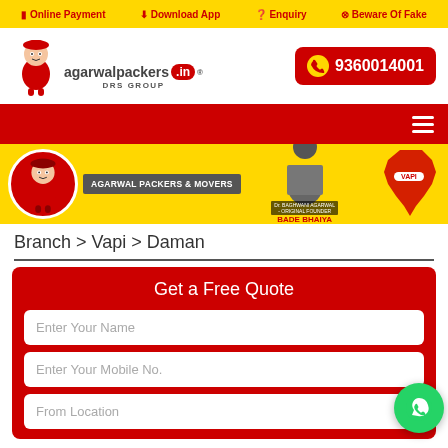Online Payment | Download App | Enquiry | Beware Of Fake
[Figure (logo): Agarwal Packers logo with mascot, agarwalpackers.in DRS GROUP, and phone number 9360014001]
[Figure (other): Red navigation bar with hamburger menu icon]
[Figure (banner image with AGARWAL PACKERS & MOVERS text, founder photo labeled BADE BHAIYA, and India map with VAPI label): ]
Branch > Vapi > Daman
Get a Free Quote
Enter Your Name
Enter Your Mobile No.
From Location